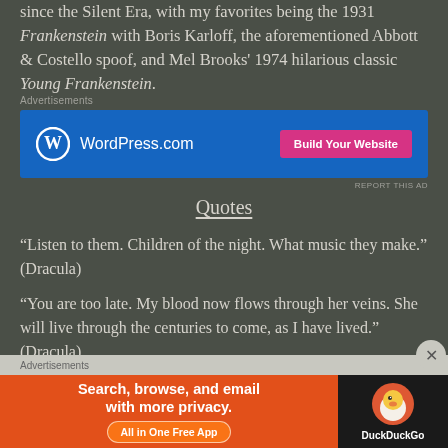since the Silent Era, with my favorites being the 1931 Frankenstein with Boris Karloff, the aforementioned Abbott & Costello spoof, and Mel Brooks' 1974 hilarious classic Young Frankenstein.
[Figure (screenshot): WordPress.com advertisement banner with blue background, WordPress logo and text, and pink 'Build Your Website' button]
Quotes
“Listen to them. Children of the night. What music they make.” (Dracula)
“You are too late. My blood now flows through her veins. She will live through the centuries to come, as I have lived.” (Dracula)
“To die, to be really dead, that must be glorious! There are far worse things awaiting man than
[Figure (screenshot): DuckDuckGo advertisement banner with orange section saying 'Search, browse, and email with more privacy. All in One Free App' and dark section with DuckDuckGo duck logo]